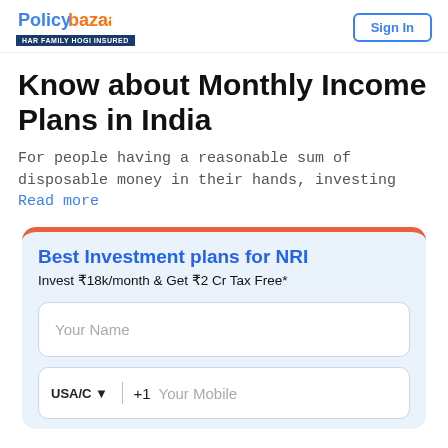HAR FAMILY HOGI INSURED | Sign In
Know about Monthly Income Plans in India
For people having a reasonable sum of disposable money in their hands, investing Read more
Best Investment plans for NRI
Invest ₹18k/month & Get ₹2 Cr Tax Free*
Your Name
USA/C ▾  +1  Your Mobile